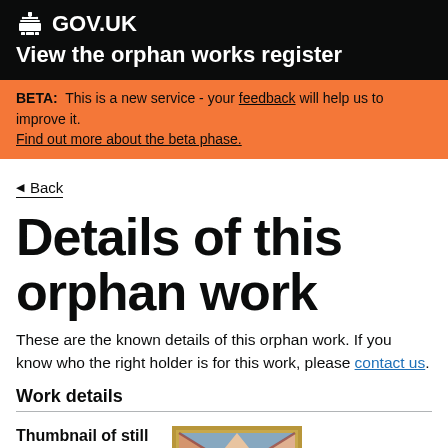GOV.UK — View the orphan works register
BETA: This is a new service - your feedback will help us to improve it. Find out more about the beta phase.
Back
Details of this orphan work
These are the known details of this orphan work. If you know who the right holder is for this work, please contact us.
Work details
Thumbnail of still image:
[Figure (photo): Thumbnail of a still image in a gold frame showing a painting with a diagonal composition in warm colors]